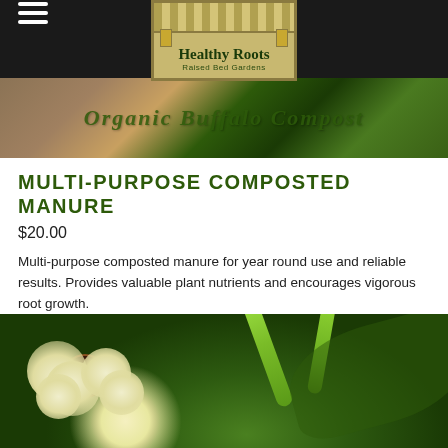Healthy Roots Raised Bed Gardens
[Figure (photo): Cropped image of a bag of organic buffalo compost product]
MULTI-PURPOSE COMPOSTED MANURE
$20.00
Multi-purpose composted manure for year round use and reliable results. Provides valuable plant nutrients and encourages vigorous root growth.
SHOP
[Figure (photo): Close-up photo of an okra flower with white petals and dark center, alongside an okra pod and green leaves]